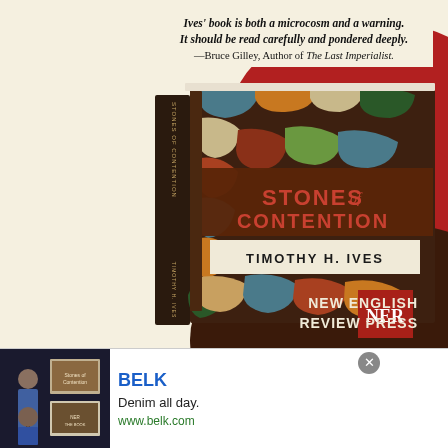[Figure (illustration): Book advertisement for 'Stones of Contention' by Timothy H. Ives, published by New English Review Press. Shows the book cover against a red and dark brown background. The book cover features colorful stone-like abstract shapes in teal, orange, red, cream and dark brown colors, with the title 'STONES of CONTENTION' and author name 'TIMOTHY H. IVES' displayed prominently.]
Ives' book is both a microcosm and a warning. It should be read carefully and pondered deeply. —Bruce Gilley, Author of The Last Imperialist.
[Figure (photo): Small thumbnail advertisement for Belk department store showing clothing/fashion images on a dark background.]
BELK
Denim all day.
www.belk.com